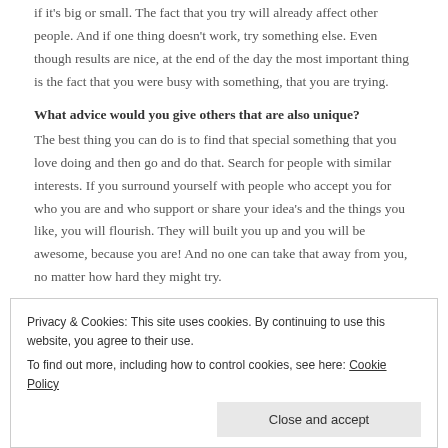if it's big or small. The fact that you try will already affect other people. And if one thing doesn't work, try something else. Even though results are nice, at the end of the day the most important thing is the fact that you were busy with something, that you are trying.
What advice would you give others that are also unique?
The best thing you can do is to find that special something that you love doing and then go and do that. Search for people with similar interests. If you surround yourself with people who accept you for who you are and who support or share your idea's and the things you like, you will flourish. They will built you up and you will be awesome, because you are! And no one can take that away from you, no matter how hard they might try.
Social Media handles:
You are already on my website.
Privacy & Cookies: This site uses cookies. By continuing to use this website, you agree to their use.
To find out more, including how to control cookies, see here: Cookie Policy